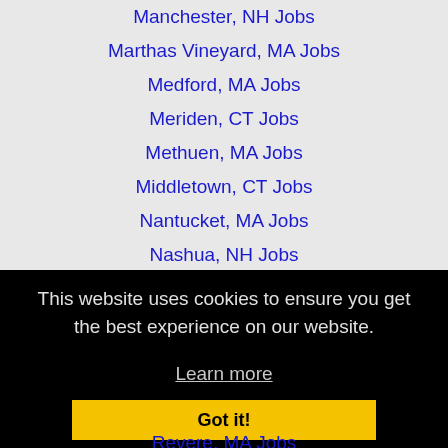Manchester, NH Jobs
Marthas Vineyard, MA Jobs
Medford, MA Jobs
Meriden, CT Jobs
Methuen, MA Jobs
Middletown, CT Jobs
Nantucket, MA Jobs
Nashua, NH Jobs
New Bedford, MA Jobs
This website uses cookies to ensure you get the best experience on our website.
Learn more
Got it!
Revere, MA Jobs